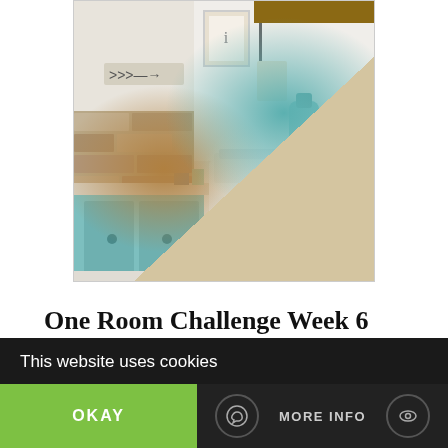[Figure (photo): Bathroom interior photo showing a kids-guest bathroom with stone accent wall, light teal vanity, white toilet, decorative arrow sign, and various bathroom accessories.]
One Room Challenge Week 6 Kids-Guest Bathroom Reveal
It's week 6 of the One Room Challenge and this is ...
[Read More...]
ARCHIVE
This website uses cookies
OKAY
MORE INFO